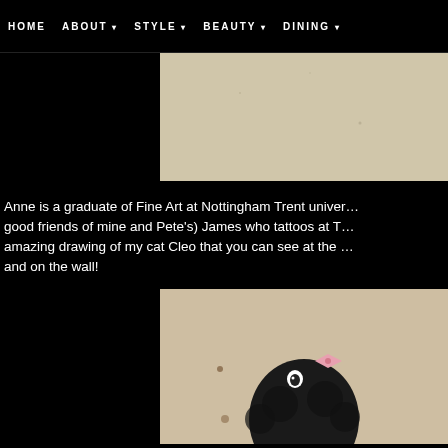HOME   ABOUT ▾   STYLE ▾   BEAUTY ▾   DINING ▾
[Figure (photo): Top partial photo showing a beige/tan textured surface, cropped — left side is black background]
Anne is a graduate of Fine Art at Nottingham Trent univer… good friends of mine and Pete's) James who tattoos at T… amazing drawing of my cat Cleo that you can see at the … and on the wall!
[Figure (photo): Bottom partial photo showing a drawing/illustration of a cat with dark curly fur and a pink bow, on beige background — left side is black background]